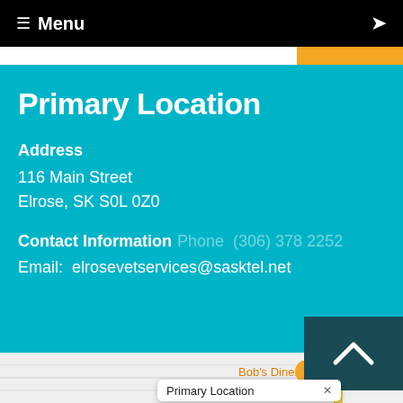≡ Menu
Primary Location
Address
116 Main Street
Elrose, SK S0L 0Z0
Contact Information  Phone  (306) 378 2252
Email:  elrosevetservices@sasktel.net
[Figure (map): Google Maps partial view showing Elrose area with a road, Bob's Diner pin (orange), and a Primary Location popup card at bottom.]